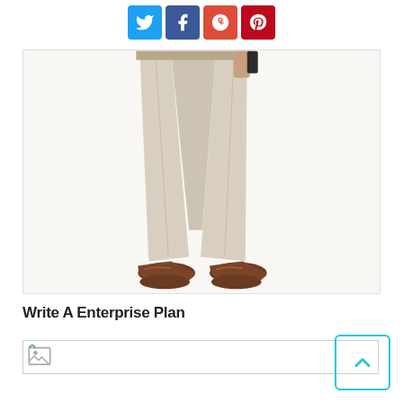[Figure (other): Social media share buttons: Twitter (blue), Facebook (dark blue), Google+ (red), Pinterest (dark red)]
[Figure (photo): Lower half of a person wearing khaki/beige chino pants and brown leather dress shoes, white background]
Write A Enterprise Plan
[Figure (other): Broken image placeholder with small icon]
[Figure (other): Back to top button with upward-pointing caret, cyan border, bottom-right corner]